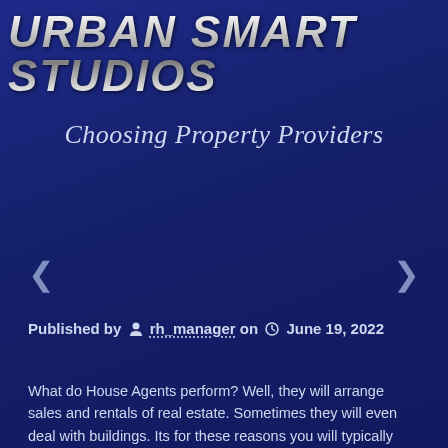URBAN SMART STUDIOS
Choosing Property Providers
Published by rh_manager on June 19, 2022
What do House Agents perform? Well, they will arrange sales and rentals of real estate. Sometimes they will even deal with buildings. Its for these reasons you will typically